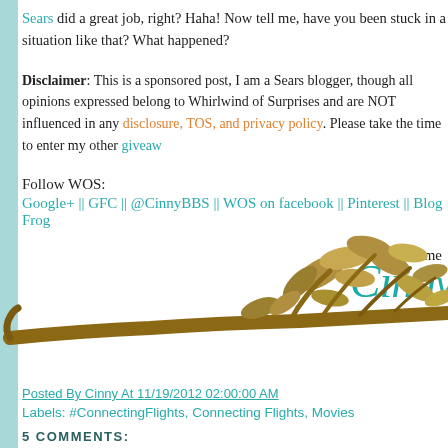Sears did a great job, right? Haha! Now tell me, have you been stuck in a situation like that? What happened?
Disclaimer: This is a sponsored post, I am a Sears blogger, though all opinions expressed belong to Whirlwind of Surprises and are NOT influenced in any way. See full disclosure, TOS, and privacy policy. Please take the time to enter my other giveaway
Follow WOS:
Google+ || GFC || @CinnyBBS || WOS on facebook || Pinterest || Blog Frog
Until next time
[Figure (illustration): Decorative cursive signature 'Cinny' in teal color with a branch and leaves illustration in brown/tan colors at the bottom of the page]
Posted By Cinny At 11/19/2012 02:00:00 AM
Labels: #ConnectingFlights, Connecting Flights, Movies
5 COMMENTS: